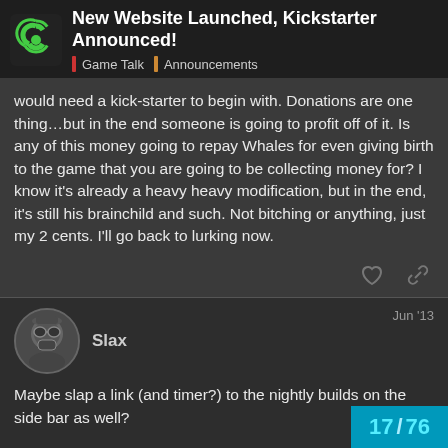New Website Launched, Kickstarter Announced! | Game Talk | Announcements
would need a kick-starter to begin with. Donations are one thing…but in the end someone is going to profit off of it. Is any of this money going to repay Whales for even giving birth to the game that you are going to be collecting money for? I know it's already a heavy heavy modification, but in the end, it's still his brainchild and such. Not bitching or anything, just my 2 cents. I'll go back to lurking now.
Slax  Jun '13
Maybe slap a link (and timer?) to the nightly builds on the side bar as well?
17 / 76